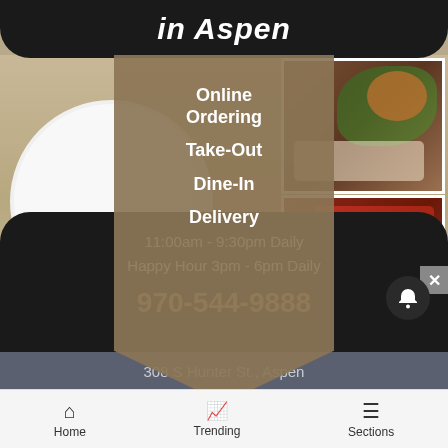in Aspen
Online Ordering
Take-Out
Dine-In
Delivery
11:00am - 9:30pm Daily
Happy Hour 3pm - 6pm Daily
970-544-9888
308 S Hunter St., Aspen
[Figure (photo): Restaurant food photos collage with plates, appetizers, and dishes]
Home   Trending   Sections